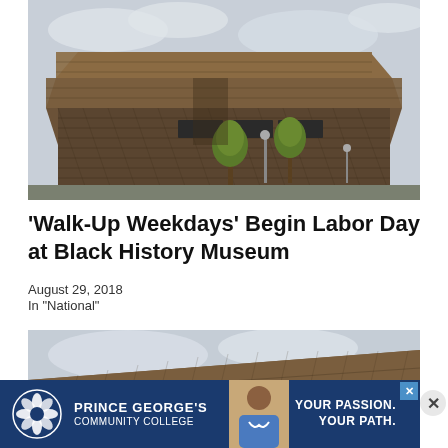[Figure (photo): Exterior photo of the National Museum of African American History and Culture (NMAAHC) building — a large dark bronze latticed building with a distinctive tiered shape, trees in front, under a cloudy sky]
'Walk-Up Weekdays' Begin Labor Day at Black History Museum
August 29, 2018
In "National"
[Figure (photo): Second photo of the National Museum of African American History and Culture building, partial view showing the top portion of the structure against a cloudy sky]
[Figure (other): Advertisement banner for Prince George's Community College with text 'YOUR PASSION. YOUR PATH.' and an image of a person in medical scrubs]